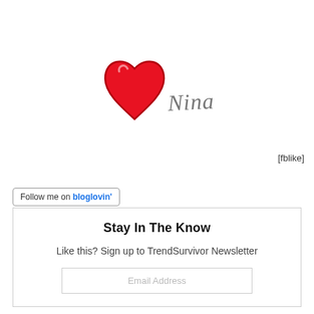[Figure (illustration): A hand-drawn red heart shape with black outline, next to a handwritten cursive signature reading 'Nina' in gray ink.]
[fblike]
Follow me on bloglovin'
Stay In The Know
Like this? Sign up to TrendSurvivor Newsletter
Email Address